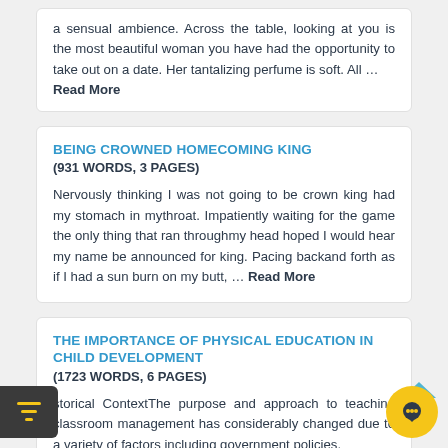a sensual ambience. Across the table, looking at you is the most beautiful woman you have had the opportunity to take out on a date. Her tantalizing perfume is soft. All ... Read More
BEING CROWNED HOMECOMING KING
(931 WORDS, 3 PAGES)
Nervously thinking I was not going to be crown king had my stomach in mythroat. Impatiently waiting for the game the only thing that ran throughmy head hoped I would hear my name be announced for king. Pacing backand forth as if I had a sun burn on my butt, ... Read More
THE IMPORTANCE OF PHYSICAL EDUCATION IN CHILD DEVELOPMENT
(1723 WORDS, 6 PAGES)
storical ContextThe purpose and approach to teaching classroom management has considerably changed due to a variety of factors including government policies,